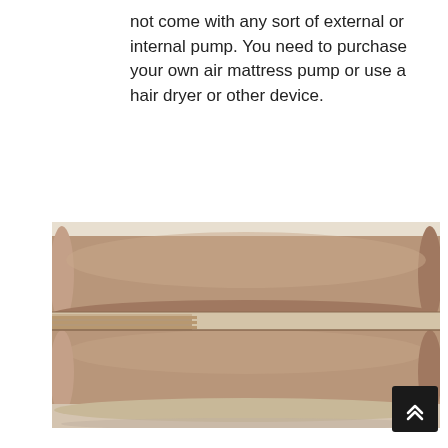not come with any sort of external or internal pump. You need to purchase your own air mattress pump or use a hair dryer or other device.
[Figure (photo): Side view of a folded inflatable air mattress in tan/brown color, showing two stacked inflated chambers with visible seam in the middle, on a white background.]